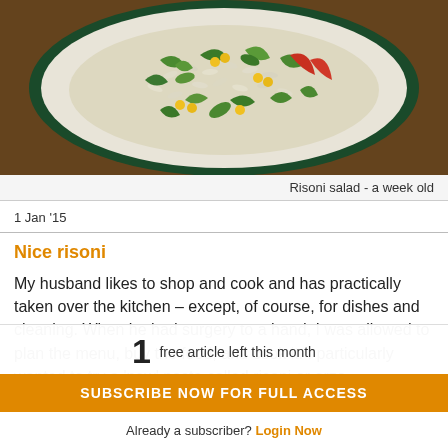[Figure (photo): A bowl of risoni salad with green vegetables, corn, herbs, and red peppers viewed from above]
Risoni salad - a week old
1 Jan '15
Nice risoni
My husband likes to shop and cook and has practically taken over the kitchen – except, of course, for dishes and cleaning. When he had surgery to a hand, I was allowed to plan the menu, buy the food, and cook it. I particularly wanted to try a 'new' pasta called risoni or orzo.
1 free article left this month
SUBSCRIBE NOW FOR FULL ACCESS
Already a subscriber? Login Now